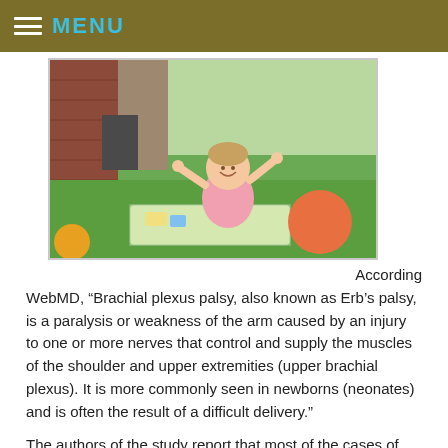MENU
[Figure (photo): A smiling baby sitting outdoors on a blanket on the grass, wearing a pink outfit, with arms raised, an orange ball behind, and a brick building in the background.]
According WebMD, “Brachial plexus palsy, also known as Erb’s palsy, is a paralysis or weakness of the arm caused by an injury to one or more nerves that control and supply the muscles of the shoulder and upper extremities (upper brachial plexus). It is more commonly seen in newborns (neonates) and is often the result of a difficult delivery.”
The authors of the study report that most of the cases of Erb’s Palsy are medically managed with either physiotherapy or surgery. The results of this care show that 30% recovered with minimal defects by six months of age, while 55% had moderate residual deficits by 12